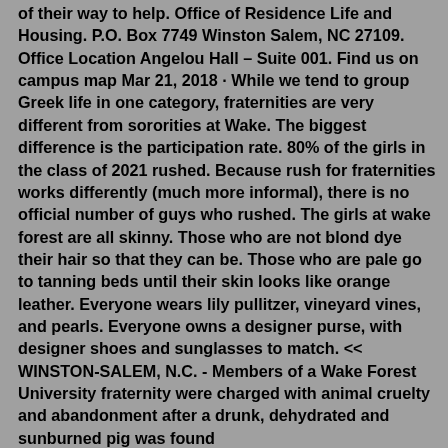of their way to help. Office of Residence Life and Housing. P.O. Box 7749 Winston Salem, NC 27109. Office Location Angelou Hall – Suite 001. Find us on campus map Mar 21, 2018 · While we tend to group Greek life in one category, fraternities are very different from sororities at Wake. The biggest difference is the participation rate. 80% of the girls in the class of 2021 rushed. Because rush for fraternities works differently (much more informal), there is no official number of guys who rushed. The girls at wake forest are all skinny. Those who are not blond dye their hair so that they can be. Those who are pale go to tanning beds until their skin looks like orange leather. Everyone wears lily pullitzer, vineyard vines, and pearls. Everyone owns a designer purse, with designer shoes and sunglasses to match. << WINSTON-SALEM, N.C. - Members of a Wake Forest University fraternity were charged with animal cruelty and abandonment after a drunk, dehydrated and sunburned pig was found